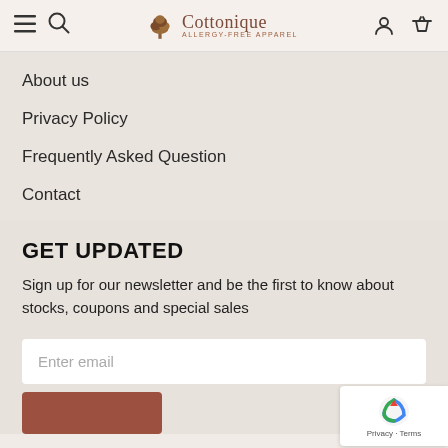Cottonique ALLERGY-FREE APPAREL
About us
Privacy Policy
Frequently Asked Question
Contact
GET UPDATED
Sign up for our newsletter and be the first to know about stocks, coupons and special sales
Enter email